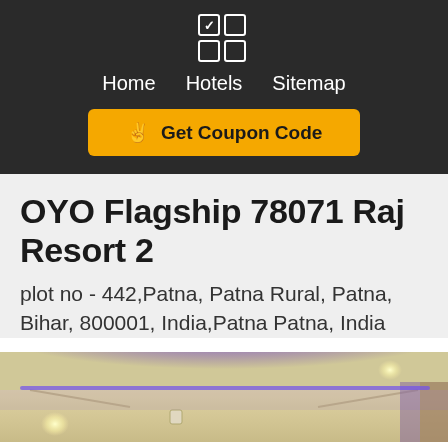OYO Hotels — Home | Hotels | Sitemap — Get Coupon Code
OYO Flagship 78071 Raj Resort 2
plot no - 442,Patna, Patna Rural, Patna, Bihar, 800001, India,Patna Patna, India
[Figure (photo): Interior photo of hotel room showing ceiling with purple/blue LED accent lighting and cream-colored walls]